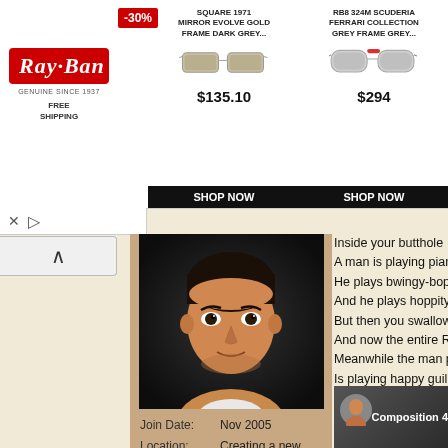[Figure (screenshot): Ray-Ban advertisement banner with logo, -30% sale badge, two sunglasses products (Square 1971 Mirror Evolve Gold Frame Dark Grey $135.10 and RB8324M Scuderia Ferrari Collection Grey Frame Grey $294), each with SHOP NOW buttons]
FREE
SHIPPING
[Figure (photo): Portrait photo of a man with dark hair against dark background]
Join Date:	Nov 2005
Location:	Creating a new universe
Posts:	1,993
Blog Entries:	93
Inside your butthole
A man is playing piano
He plays bwingy-bops
And he plays hoppity-zops
But then you swallow the moon
And now the entire Roman Arm
Meanwhile the man playing pia
Is playing happy guillotines goir
the universe
And the decapitated heads are
television commercials
And all the decapitated heads a
Yippeeeeeeeeee! Yahooooooo
Copyright 2021 by Wolf Larsen
Wolf Larsen performs his poetry
[Figure (screenshot): Video thumbnail showing Wolf Larsen performing poetry, with circular avatar and title 'Composition 4']